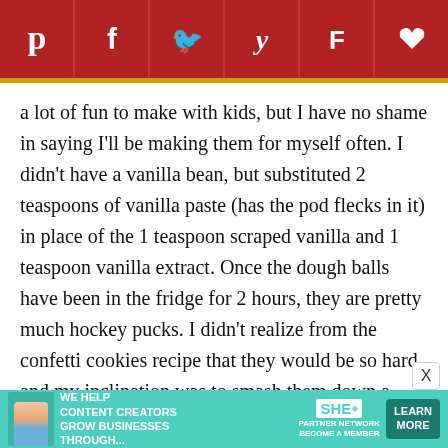[Figure (infographic): Social sharing bar with icons for Pinterest, Facebook, Twitter, Yummly, Flipboard, and a heart/favorite button on dark red background]
a lot of fun to make with kids, but I have no shame in saying I'll be making them for myself often. I didn't have a vanilla bean, but substituted 2 teaspoons of vanilla paste (has the pod flecks in it) in place of the 1 teaspoon scraped vanilla and 1 teaspoon vanilla extract. Once the dough balls have been in the fridge for 2 hours, they are pretty much hockey pucks. I didn't realize from the confetti cookies recipe that they would be so hard, and my inclination was to smash them down a little bit before baking. They will be solid, but that they will bake down into perfectly round
[Figure (infographic): Advertisement banner for SHE Media Partner Network with text 'We help content creators grow businesses through...' and 'Learn More' button]